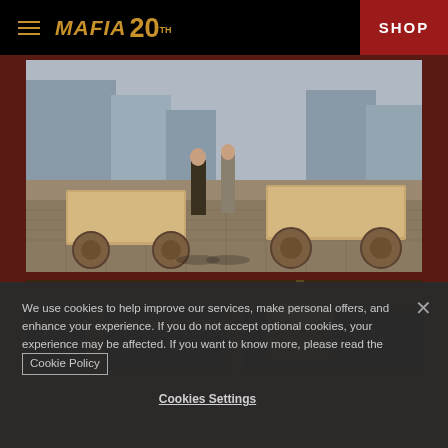Mafia 20th Anniversary — Navigation Header with SHOP button
[Figure (screenshot): Mafia game screenshot: 1930s city street scene with characters standing near wooden carts on a cobblestone road, urban buildings in background]
[Figure (screenshot): Mafia game screenshot: interior scene showing ornate art-deco architecture with a chandelier and balcony railings]
We use cookies to help improve our services, make personal offers, and enhance your experience. If you do not accept optional cookies, your experience may be affected. If you want to know more, please read the Cookie Policy
Cookies Settings